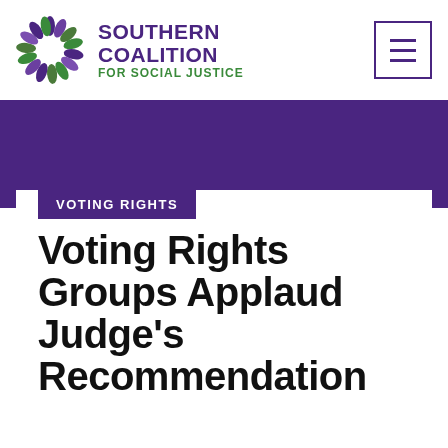[Figure (logo): Southern Coalition for Social Justice logo with colorful flower/leaf emblem and organization name in purple and green]
[Figure (other): Hamburger menu icon — three horizontal lines in a purple-bordered square]
[Figure (other): Purple hero banner background]
VOTING RIGHTS
Voting Rights Groups Applaud Judge's Recommendation